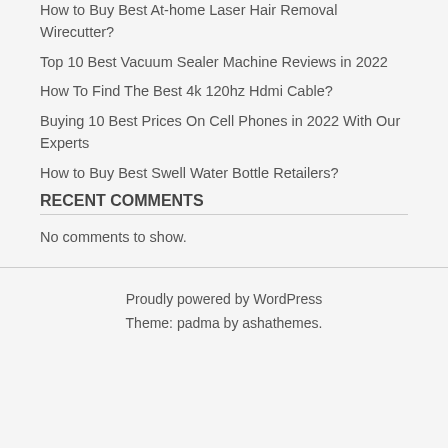How to Buy Best At-home Laser Hair Removal Wirecutter?
Top 10 Best Vacuum Sealer Machine Reviews in 2022
How To Find The Best 4k 120hz Hdmi Cable?
Buying 10 Best Prices On Cell Phones in 2022 With Our Experts
How to Buy Best Swell Water Bottle Retailers?
RECENT COMMENTS
No comments to show.
Proudly powered by WordPress
Theme: padma by ashathemes.